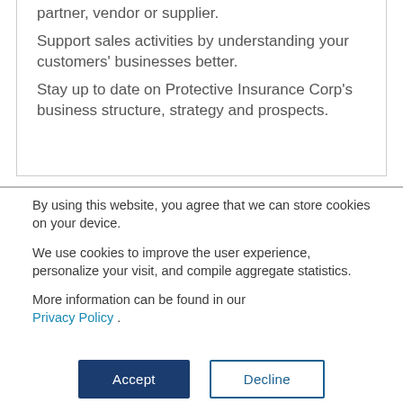partner, vendor or supplier.
Support sales activities by understanding your customers' businesses better.
Stay up to date on Protective Insurance Corp's business structure, strategy and prospects.
By using this website, you agree that we can store cookies on your device.
We use cookies to improve the user experience, personalize your visit, and compile aggregate statistics.
More information can be found in our Privacy Policy .